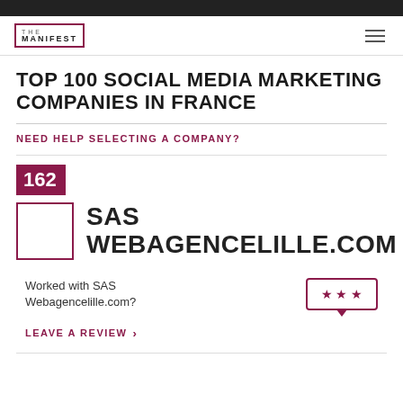THE MANIFEST
TOP 100 SOCIAL MEDIA MARKETING COMPANIES IN FRANCE
NEED HELP SELECTING A COMPANY?
162
SAS WEBAGENCELILLE.COM
Worked with SAS Webagencelille.com?
LEAVE A REVIEW >